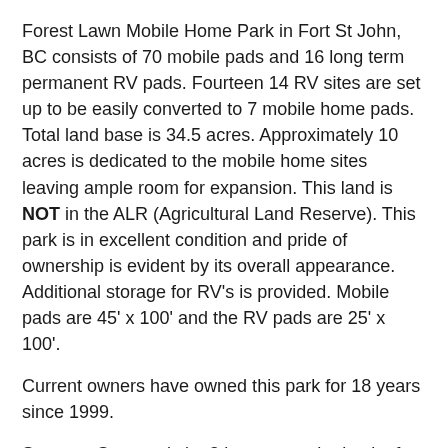Forest Lawn Mobile Home Park in Fort St John, BC consists of 70 mobile pads and 16 long term permanent RV pads. Fourteen 14 RV sites are set up to be easily converted to 7 mobile home pads. Total land base is 34.5 acres. Approximately 10 acres is dedicated to the mobile home sites leaving ample room for expansion. This land is NOT in the ALR (Agricultural Land Reserve). This park is in excellent condition and pride of ownership is evident by its overall appearance. Additional storage for RV's is provided. Mobile pads are 45' x 100' and the RV pads are 25' x 100'.
Current owners have owned this park for 18 years since 1999.
Sewage: Sewage is by 3 lagoons at the back of the property. Solid waste flows to tanks which are pumped once per year. Grey water then flows to the lagoons resulting in clean effluent. Lagoons have ample size for expansion.
Water : All underground water lines in the original section of